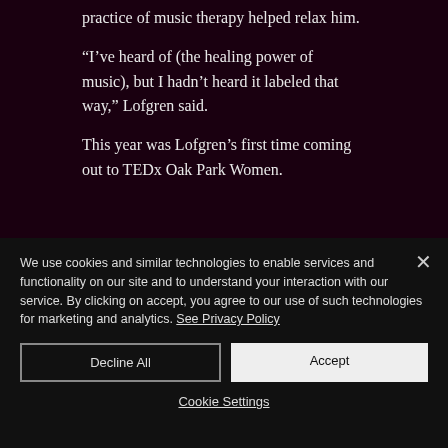practice of music therapy helped relax him.
“I’ve heard of (the healing power of music), but I hadn’t heard it labeled that way,” Lofgren said.
This year was Lofgren’s first time coming out to TEDx Oak Park Women.
We use cookies and similar technologies to enable services and functionality on our site and to understand your interaction with our service. By clicking on accept, you agree to our use of such technologies for marketing and analytics. See Privacy Policy
Decline All
Accept
Cookie Settings